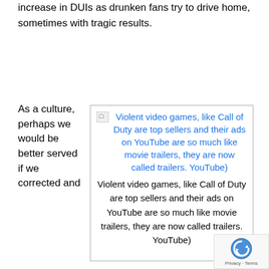increase in DUIs as drunken fans try to drive home, sometimes with tragic results.
As a culture, perhaps we would be better served if we corrected and
[Figure (screenshot): A bordered box containing a broken image icon and alt text in blue: 'Violent video games, like Call of Duty are top sellers and their ads on YouTube are so much like movie trailers, they are now called trailers. YouTube)' followed by the same text in black below.]
Violent video games, like Call of Duty are top sellers and their ads on YouTube are so much like movie trailers, they are now called trailers. YouTube)